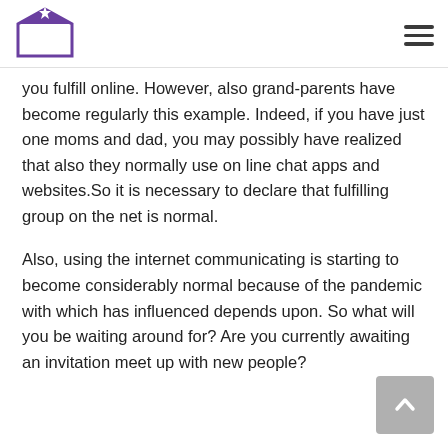Team Renovate
you fulfill online. However, also grand-parents have become regularly this example. Indeed, if you have just one moms and dad, you may possibly have realized that also they normally use on line chat apps and websites.So it is necessary to declare that fulfilling group on the net is normal.
Also, using the internet communicating is starting to become considerably normal because of the pandemic with which has influenced depends upon. So what will you be waiting around for? Are you currently awaiting an invitation meet up with new people?